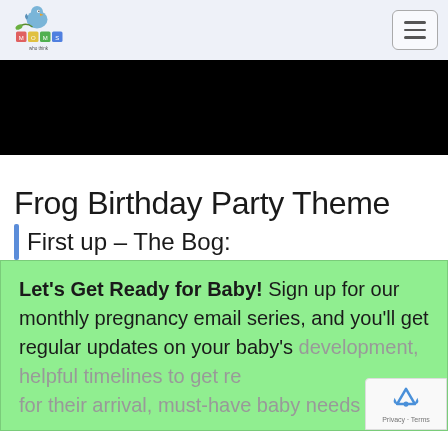Moms Who Think
[Figure (screenshot): Black banner/advertisement area]
Frog Birthday Party Theme
First up – The Bog:
Let's Get Ready for Baby! Sign up for our monthly pregnancy email series, and you'll get regular updates on your baby's development, helpful timelines to get re for their arrival, must-have baby needs and